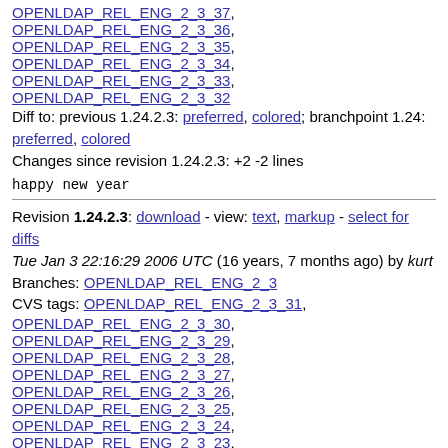OPENLDAP_REL_ENG_2_3_37,
OPENLDAP_REL_ENG_2_3_36,
OPENLDAP_REL_ENG_2_3_35,
OPENLDAP_REL_ENG_2_3_34,
OPENLDAP_REL_ENG_2_3_33,
OPENLDAP_REL_ENG_2_3_32
Diff to: previous 1.24.2.3: preferred, colored; branchpoint 1.24: preferred, colored
Changes since revision 1.24.2.3: +2 -2 lines
happy new year
Revision 1.24.2.3: download - view: text, markup - select for diffs
Tue Jan 3 22:16:29 2006 UTC (16 years, 7 months ago) by kurt
Branches: OPENLDAP_REL_ENG_2_3
CVS tags: OPENLDAP_REL_ENG_2_3_31,
OPENLDAP_REL_ENG_2_3_30,
OPENLDAP_REL_ENG_2_3_29,
OPENLDAP_REL_ENG_2_3_28,
OPENLDAP_REL_ENG_2_3_27,
OPENLDAP_REL_ENG_2_3_26,
OPENLDAP_REL_ENG_2_3_25,
OPENLDAP_REL_ENG_2_3_24,
OPENLDAP_REL_ENG_2_3_23,
OPENLDAP_REL_ENG_2_3_22,